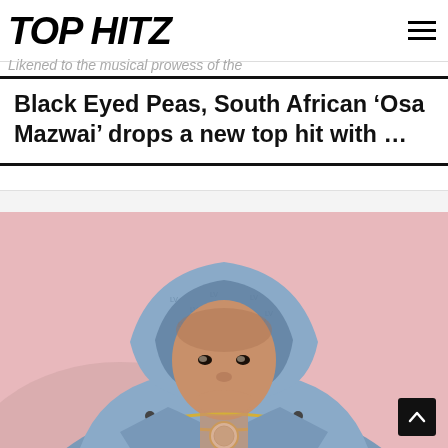TOP HITZ
Likened to the musical prowess of the
Black Eyed Peas, South African ‘Osa Mazwai’ drops a new top hit with …
[Figure (photo): A man wearing a Louis Vuitton monogram denim hoodie and chain necklace with medallion, posing against a pink background, looking directly at camera.]